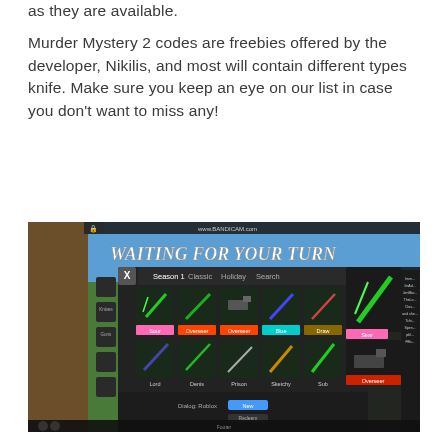as they are available.
Murder Mystery 2 codes are freebies offered by the developer, Nikilis, and most will contain different types knife. Make sure you keep an eye on our list in case you don't want to miss any!
[Figure (screenshot): Screenshot of Roblox Murder Mystery 2 game showing a knife inventory screen with the title 'WAITING FOR YOUR TURN'. The interface shows Season 1, Classic, Holiday tabs with various knife skins displayed in a grid (Sour, Overseer, Overseer, Blue, Draw, Lord, Denis, Prison, Sketchy, Sub labels visible). A chat panel is visible on the right side. The game environment shows grass and wood textures.]